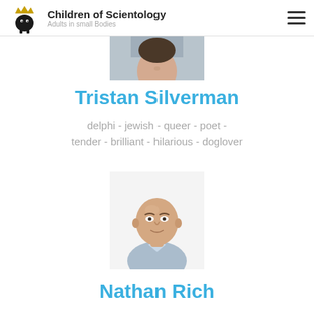Children of Scientology – Adults in small Bodies
[Figure (photo): Partial photo of Tristan Silverman, cropped at top]
Tristan Silverman
delphi - jewish - queer - poet - tender - brilliant - hilarious - doglover
[Figure (photo): Portrait photo of Nathan Rich, bald man in light blue shirt]
Nathan Rich